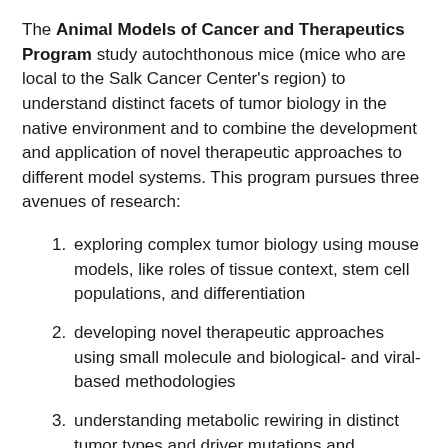The Animal Models of Cancer and Therapeutics Program study autochthonous mice (mice who are local to the Salk Cancer Center's region) to understand distinct facets of tumor biology in the native environment and to combine the development and application of novel therapeutic approaches to different model systems. This program pursues three avenues of research:
exploring complex tumor biology using mouse models, like roles of tissue context, stem cell populations, and differentiation
developing novel therapeutic approaches using small molecule and biological- and viral-based methodologies
understanding metabolic rewiring in distinct tumor types and driver mutations and developing novel metabolism-based diagnostics and therapeutics